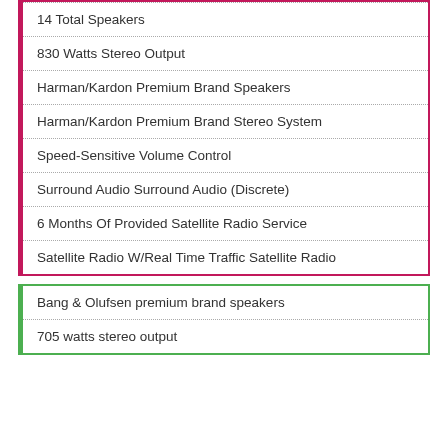14 Total Speakers
830 Watts Stereo Output
Harman/Kardon Premium Brand Speakers
Harman/Kardon Premium Brand Stereo System
Speed-Sensitive Volume Control
Surround Audio Surround Audio (Discrete)
6 Months Of Provided Satellite Radio Service
Satellite Radio W/Real Time Traffic Satellite Radio
Bang & Olufsen premium brand speakers
705 watts stereo output